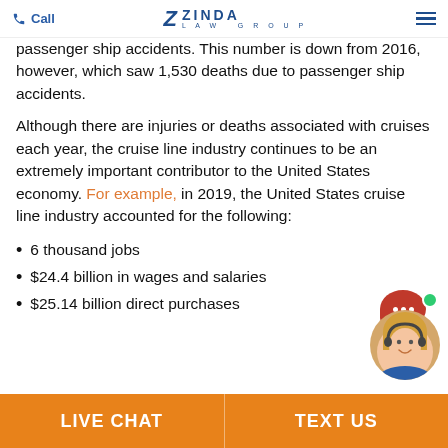Call | ZINDA LAW GROUP | [menu]
passenger ship accidents. This number is down from 2016, however, which saw 1,530 deaths due to passenger ship accidents.
Although there are injuries or deaths associated with cruises each year, the cruise line industry continues to be an extremely important contributor to the United States economy. For example, in 2019, the United States cruise line industry accounted for the following:
6 thousand jobs
$24.4 billion in wages and salaries
$25.14 billion direct purchases
LIVE CHAT | TEXT US